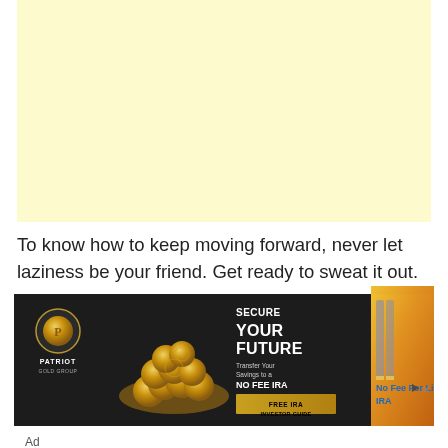[Figure (other): Light yellow/cream colored rectangular box, serving as a placeholder or image area at the top of the page]
To know how to keep moving forward, never let laziness be your friend. Get ready to sweat it out.
[Figure (illustration): Advertisement for Patriot Gold Group - 'No Fee For Life Gold IRA'. Shows gold coins imagery with text 'SECURE YOUR FUTURE', 'Transfer Your Savings to a NO FEE IRA', and a 'FREE IRA INVESTOR GUIDE' button. Right side shows orange/gold gradient background with pencils/markers image.]
Ad